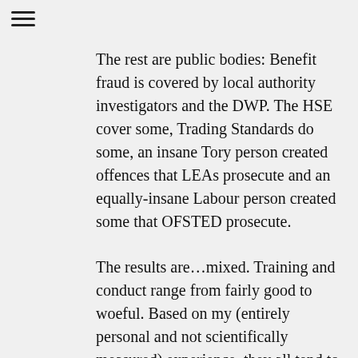☰
The rest are public bodies: Benefit fraud is covered by local authority investigators and the DWP. The HSE cover some, Trading Standards do some, an insane Tory person created offences that LEAs prosecute and an equally-insane Labour person created some that OFSTED prosecute.
The results are…mixed. Training and conduct range from fairly good to woeful. Based on my (entirely personal and not scientifically measured) experience, they all tend to be worse than the police, on average, in terms of quality of investigations, conduct of interviews and preparation of cases. Some do not realise that PACE is just as applicable to them as it is to the